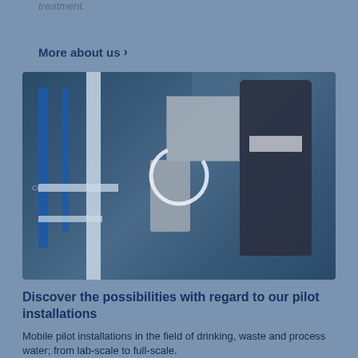treatment.
More about us >
[Figure (photo): Industrial water treatment pilot installation showing blue-framed equipment with pipes, pumps, control box, and a large dark cylindrical tank. A circular play button overlay is visible in the center of the image.]
Discover the possibilities with regard to our pilot installations
Mobile pilot installations in the field of drinking, waste and process water; from lab-scale to full-scale.